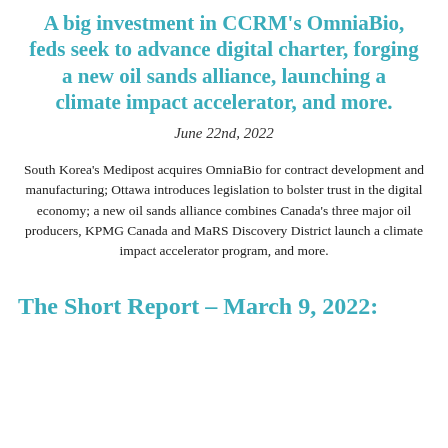A big investment in CCRM's OmniaBio, feds seek to advance digital charter, forging a new oil sands alliance, launching a climate impact accelerator, and more.
June 22nd, 2022
South Korea's Medipost acquires OmniaBio for contract development and manufacturing; Ottawa introduces legislation to bolster trust in the digital economy; a new oil sands alliance combines Canada's three major oil producers, KPMG Canada and MaRS Discovery District launch a climate impact accelerator program, and more.
The Short Report – March 9, 2022: